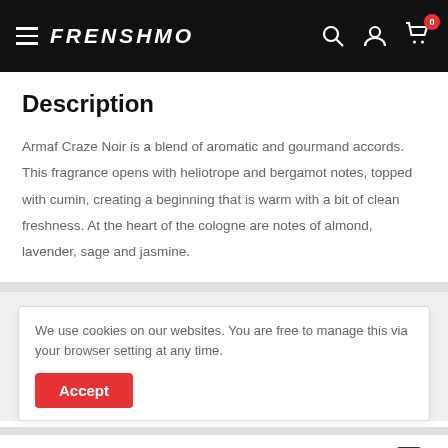FRENSHMO
Description
Armaf Craze Noir is a blend of aromatic and gourmand accords. This fragrance opens with heliotrope and bergamot notes, topped with cumin, creating a beginning that is warm with a bit of clean freshness. At the heart of the cologne are notes of almond, lavender, sage and jasmine.
We use cookies on our websites. You are free to manage this via your browser setting at any time.
Payment & Security